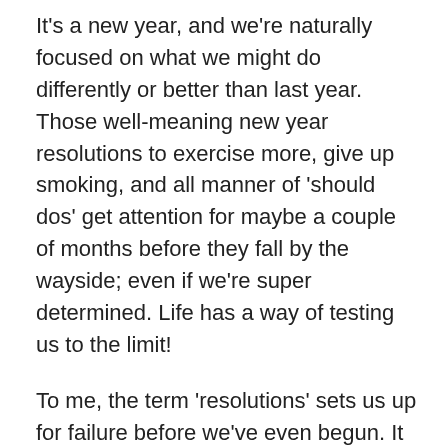It's a new year, and we're naturally focused on what we might do differently or better than last year. Those well-meaning new year resolutions to exercise more, give up smoking, and all manner of 'should dos' get attention for maybe a couple of months before they fall by the wayside; even if we're super determined. Life has a way of testing us to the limit!
To me, the term 'resolutions' sets us up for failure before we've even begun. It sounds too much like iron clad will-power is required. There's no fun or adventure and excitement in it. It sort of implies that we'll need to be as serious as the United Nations are when they publish a Security Council statement of will.
Some lofty intention that we don't really believe is attainable, eating away at our motivation for sustained